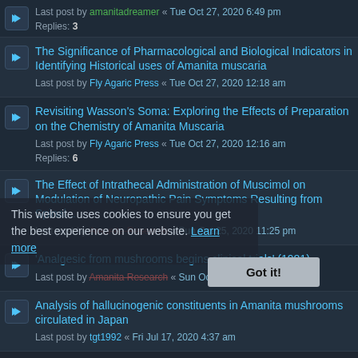Last post by amanitadreamer « Tue Oct 27, 2020 6:49 pm
Replies: 3
The Significance of Pharmacological and Biological Indicators in Identifying Historical uses of Amanita muscaria
Last post by Fly Agaric Press « Tue Oct 27, 2020 12:18 am
Revisiting Wasson's Soma: Exploring the Effects of Preparation on the Chemistry of Amanita Muscaria
Last post by Fly Agaric Press « Tue Oct 27, 2020 12:16 am
Replies: 6
The Effect of Intrathecal Administration of Muscimol on Modulation of Neuropathic Pain Symptoms Resulting from Spinal...
Last post by Amanita Research « Sun Oct 25, 2020 11:25 pm
'Analgesic from mushrooms begins clinical trials' (1981)
Last post by Amanita Research « Sun Oct 25, 2020 11:23 pm
Analysis of hallucinogenic constituents in Amanita mushrooms circulated in Japan
Last post by tgt1992 « Fri Jul 17, 2020 4:37 am
This website uses cookies to ensure you get the best experience on our website. Learn more
Got it!